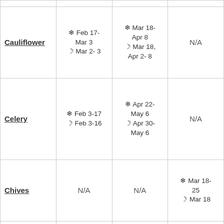| Vegetable | Col2 | Col3 | Col4 |
| --- | --- | --- | --- |
| Cauliflower | ❄ Feb 17-Mar 3 ☽ Mar 2-3 | ❄ Mar 18-Apr 8 ☽ Mar 18, Apr 2-8 | N/A |
| Celery | ❄ Feb 3-17 ☽ Feb 3-16 | ❄ Apr 22-May 6 ☽ Apr 30-May 6 | N/A |
| Chives | N/A | N/A | ❄ Mar 18-25 ☽ Mar 18 |
| Cilantro (Coriander) | N/A | N/A | ❄ Apr 15-2... ☽ Apr 15-16 |
| Corn | N/A | N/A | ❄ Apr 29-May 20 ☽ Apr 30- |